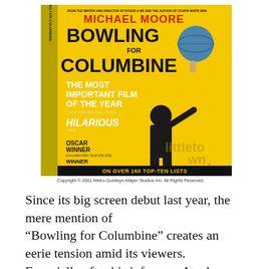[Figure (photo): DVD cover of 'Bowling for Columbine' directed by Michael Moore. Yellow background with Michael Moore holding a globe bowling ball. Text includes: 'FROM THE WRITER AND DIRECTOR OF ROGER AND ME AND THE AUTHOR OF STUPID WHITE MEN', 'MICHAEL MOORE', 'BOWLING FOR COLUMBINE', 'THE MOST IMPORTANT FILM OF THE YEAR - LOS ANGELES DAILY NEWS', 'HILARIOUS', 'OSCAR WINNER DOCUMENTARY FEATURE 2003', 'WINNER BEST ORIGINAL SCREENPLAY WRITERS GUILD OF AMERICA 2003', 'ON OVER 160 TOP-TEN LISTS'. Spine visible on left side.]
Copyright © 2001 Metro-Goldwyn-Mayer Studios Inc. All Rights Reserved.
Since its big screen debut last year, the mere mention of “Bowling for Columbine” creates an eerie tension amid its viewers. Especially after his infamous Academy Award acceptance speech, the